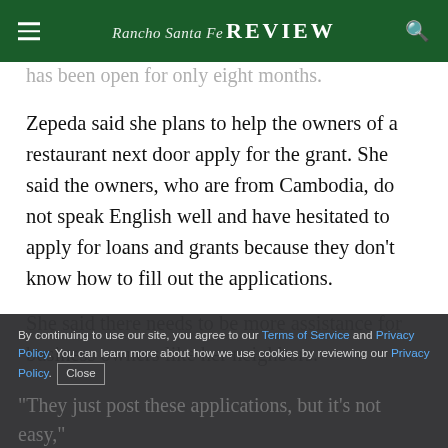Rancho Santa Fe Review
has been open for only eight months.
Zepeda said she plans to help the owners of a restaurant next door apply for the grant. She said the owners, who are from Cambodia, do not speak English well and have hesitated to apply for loans and grants because they don't know how to fill out the applications.
She said there needs to be more assistance for business owners like her neighbors.
By continuing to use our site, you agree to our Terms of Service and Privacy Policy. You can learn more about how we use cookies by reviewing our Privacy Policy. Close
"They just post these applications, but it's not easy," Zepeda said. "It's not simple to apply ... I couldn't understand them myself and I speak English."